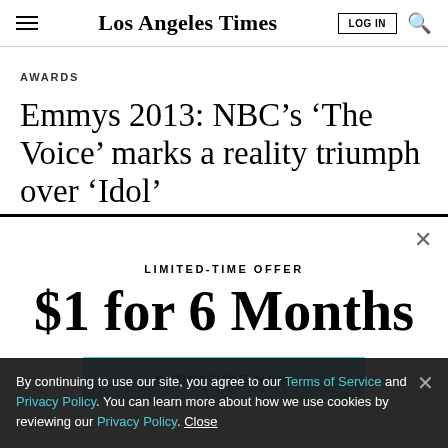Los Angeles Times
AWARDS
Emmys 2013: NBC’s ‘The Voice’ marks a reality triumph over ‘Idol’
LIMITED-TIME OFFER
$1 for 6 Months
SUBSCRIBE NOW
By continuing to use our site, you agree to our Terms of Service and Privacy Policy. You can learn more about how we use cookies by reviewing our Privacy Policy. Close